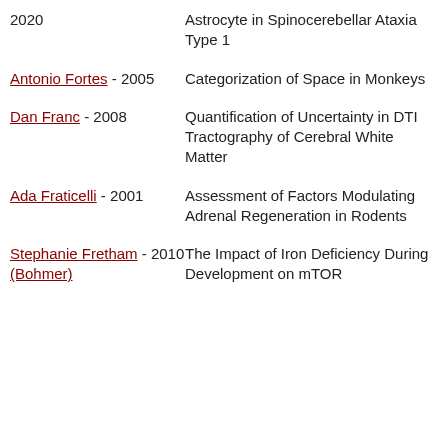2020 - Astrocyte in Spinocerebellar Ataxia Type 1
Antonio Fortes - 2005 - Categorization of Space in Monkeys
Dan Franc - 2008 - Quantification of Uncertainty in DTI Tractography of Cerebral White Matter
Ada Fraticelli - 2001 - Assessment of Factors Modulating Adrenal Regeneration in Rodents
Stephanie Fretham - 2010 (Bohmer) - The Impact of Iron Deficiency During Development on mTOR